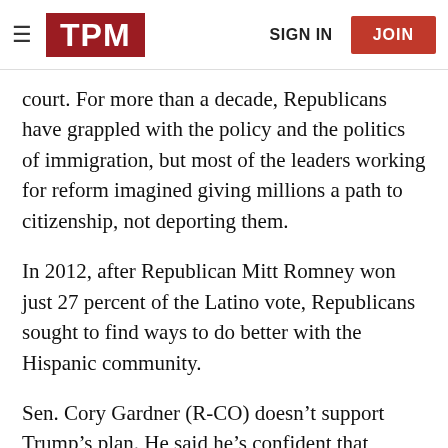TPM | SIGN IN | JOIN
court. For more than a decade, Republicans have grappled with the policy and the politics of immigration, but most of the leaders working for reform imagined giving millions a path to citizenship, not deporting them.
In 2012, after Republican Mitt Romney won just 27 percent of the Latino vote, Republicans sought to find ways to do better with the Hispanic community.
Sen. Cory Gardner (R-CO) doesn't support Trump's plan. He said he's confident that Trump's idea is